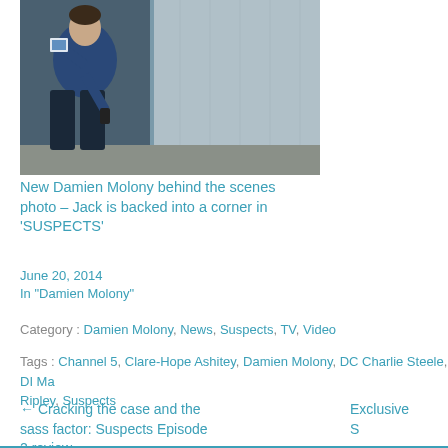[Figure (photo): Behind the scenes photo of Damien Molony as Jack, backed into a corner, holding up what appears to be an ID badge and a phone]
New Damien Molony behind the scenes photo – Jack is backed into a corner in 'SUSPECTS'
June 20, 2014
In "Damien Molony"
Category : Damien Molony, News, Suspects, TV, Video
Tags : Channel 5, Clare-Hope Ashitey, Damien Molony, DC Charlie Steele, DI Ma... Ripley, Suspects
← Cracking the case and the sass factor: Suspects Episode 2 review
Exclusive S